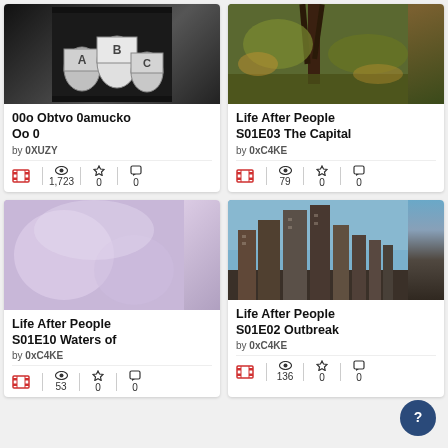[Figure (screenshot): Thumbnail image of canisters labeled A, B, C in black and white photo]
00o Obtvo 0amucko Oo 0
by 0XUZY
1,723 views, 0 stars, 0 comments
[Figure (screenshot): Thumbnail of dead plant/tree stalk in field]
Life After People S01E03 The Capital
by 0xC4KE
79 views, 0 stars, 0 comments
[Figure (screenshot): Blurry purple/pink abstract thumbnail]
Life After People S01E10 Waters of
by 0xC4KE
53 views, 0 stars, 0 comments
[Figure (screenshot): City skyline with ruined buildings and blue sky]
Life After People S01E02 Outbreak
by 0xC4KE
136 views, 0 stars, 0 comments